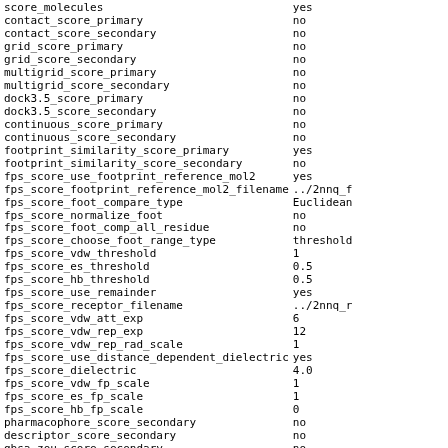| Parameter | Value |
| --- | --- |
| score_molecules | yes |
| contact_score_primary | no |
| contact_score_secondary | no |
| grid_score_primary | no |
| grid_score_secondary | no |
| multigrid_score_primary | no |
| multigrid_score_secondary | no |
| dock3.5_score_primary | no |
| dock3.5_score_secondary | no |
| continuous_score_primary | no |
| continuous_score_secondary | no |
| footprint_similarity_score_primary | yes |
| footprint_similarity_score_secondary | no |
| fps_score_use_footprint_reference_mol2 | yes |
| fps_score_footprint_reference_mol2_filename | ../2nnq_f |
| fps_score_foot_compare_type | Euclidean |
| fps_score_normalize_foot | no |
| fps_score_foot_comp_all_residue | no |
| fps_score_choose_foot_range_type | threshold |
| fps_score_vdw_threshold | 1 |
| fps_score_es_threshold | 0.5 |
| fps_score_hb_threshold | 0.5 |
| fps_score_use_remainder | yes |
| fps_score_receptor_filename | ../2nnq_r |
| fps_score_vdw_att_exp | 6 |
| fps_score_vdw_rep_exp | 12 |
| fps_score_vdw_rep_rad_scale | 1 |
| fps_score_use_distance_dependent_dielectric | yes |
| fps_score_dielectric | 4.0 |
| fps_score_vdw_fp_scale | 1 |
| fps_score_es_fp_scale | 1 |
| fps_score_hb_fp_scale | 0 |
| pharmacophore_score_secondary | no |
| descriptor_score_secondary | no |
| gbsa_zou_score_secondary | no |
| gbsa_hawkins_score_secondary | no |
| SASA_score_secondary | no |
| amber_score_secondary | no |